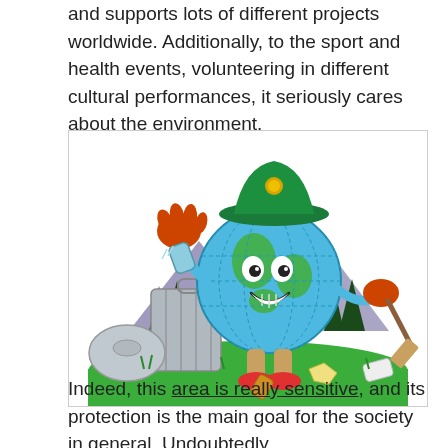and supports lots of different projects worldwide. Additionally, to the sport and health events, volunteering in different cultural performances, it seriously cares about the environment.
[Figure (illustration): A cartoon globe character wearing a green ranger hat, orange gloves and red sneakers, smiling and picking up litter. The globe is tossing a can into a trash bin. In the background are purple mountains and dark green trees. Scattered trash is on the green grass ground.]
Indeed, this area is really sensitive, and its protection is the main goal for the society in general. Undoubtedly,